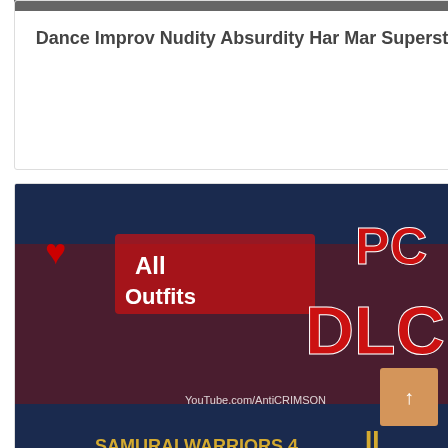[Figure (screenshot): Top cropped portion of a dance/performance image at the very top of the page]
Dance Improv Nudity Absurdity Har Mar Superstar wows.
[Figure (screenshot): Samurai Warriors 4 II PC DLC All Outfits promotional image with anime-style characters]
Samurai Warriors 4 II PC ALL DLC Costumes sexy showcase Download.
[Figure (screenshot): The Elder Scrolls V Skyrim game mod screenshot showing a character with censored nudity stars]
Game Mods The Elder Scrolls V Skyrim